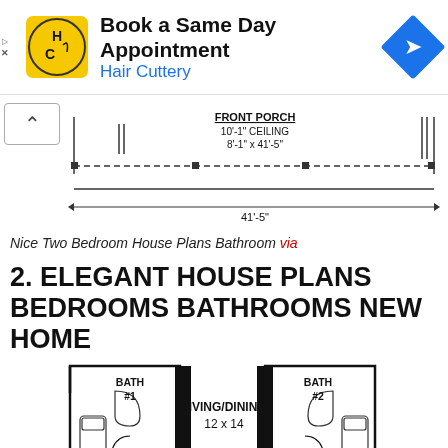[Figure (screenshot): Advertisement banner for Hair Cuttery: 'Book a Same Day Appointment' with Hair Cuttery logo and navigation icon]
[Figure (engineering-diagram): Architectural floor plan showing FRONT PORCH with 10'-1" ceiling, 8'-1" x 41'-5" dimensions, total width 41'-5"]
Nice Two Bedroom House Plans Bathroom via
2. ELEGANT HOUSE PLANS BEDROOMS BATHROOMS NEW HOME
[Figure (engineering-diagram): Floor plan showing BATH #1, LIVING/DINING 12 x 14, and BATH #2 rooms with architectural symbols]